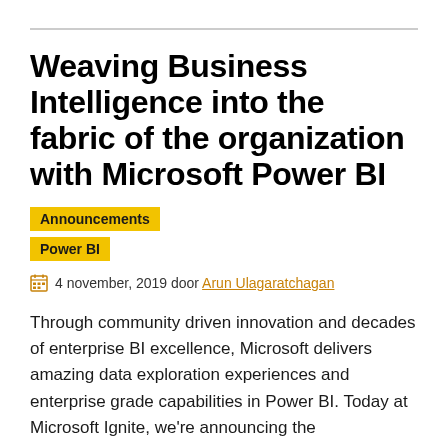Weaving Business Intelligence into the fabric of the organization with Microsoft Power BI
Announcements
Power BI
4 november, 2019 door Arun Ulagaratchagan
Through community driven innovation and decades of enterprise BI excellence, Microsoft delivers amazing data exploration experiences and enterprise grade capabilities in Power BI. Today at Microsoft Ignite, we're announcing the